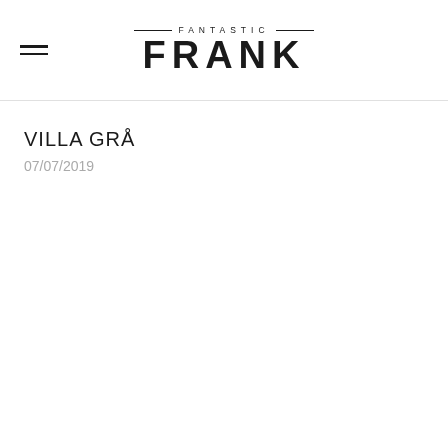FANTASTIC FRANK
VILLA GRÅ
07/07/2019